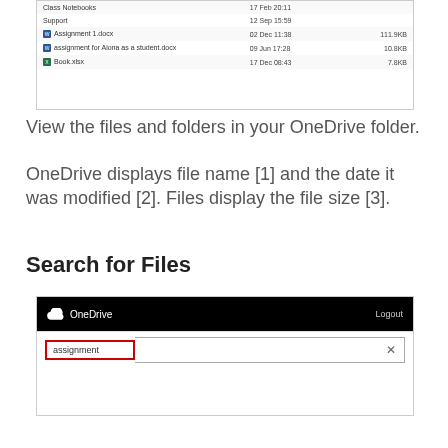[Figure (screenshot): OneDrive file listing showing Class Notebooks folder, Support folder, Assignment 1.docx, assignment for Aiona as a student.docx, and Book.xlsx with dates and file sizes]
View the files and folders in your OneDrive folder.
OneDrive displays file name [1] and the date it was modified [2]. Files display the file size [3].
Search for Files
[Figure (screenshot): OneDrive search interface with black top bar showing OneDrive logo and Logout button, and a search box with 'assignment' typed in it with a red border, and an X button to clear]